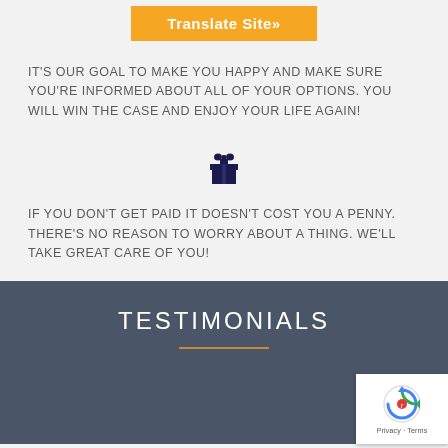[Figure (other): Orange 'Translate Site»' button]
IT'S OUR GOAL TO MAKE YOU HAPPY AND MAKE SURE YOU'RE INFORMED ABOUT ALL OF YOUR OPTIONS. YOU WILL WIN THE CASE AND ENJOY YOUR LIFE AGAIN!
[Figure (illustration): Dark navy gift box icon]
IF YOU DON'T GET PAID IT DOESN'T COST YOU A PENNY. THERE'S NO REASON TO WORRY ABOUT A THING. WE'LL TAKE GREAT CARE OF YOU!
TESTIMONIALS